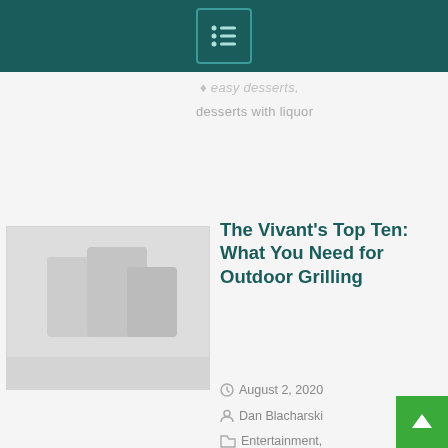[Figure (other): Navigation menu icon in dark teal header bar]
easy desserts, desserts with liquor
[Figure (photo): Thumbnail image for outdoor grilling article, faded/placeholder]
The Vivant's Top Ten: What You Need for Outdoor Grilling
August 2, 2020
Dan Blacharski
Entertainment, Feature story, Food, The Vivant's Top Ten